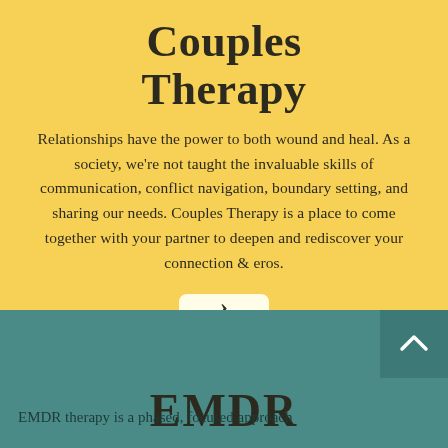Couples Therapy
Relationships have the power to both wound and heal. As a society, we're not taught the invaluable skills of communication, conflict navigation, boundary setting, and sharing our needs. Couples Therapy is a place to come together with your partner to deepen and rediscover your connection & eros.
EMDR
EMDR therapy is a phased, focused approach